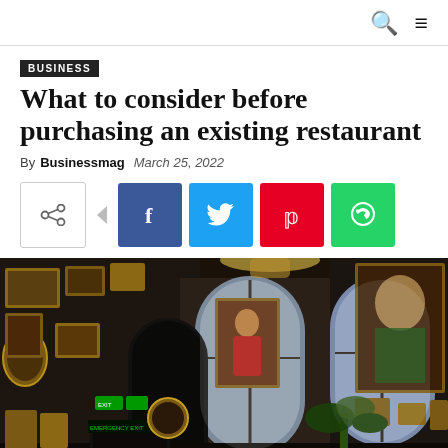BUSINESS
What to consider before purchasing an existing restaurant
By Businessmag   March 25, 2022
[Figure (infographic): Social share buttons: share icon, Facebook, Twitter, Pinterest, WhatsApp]
[Figure (photo): Interior of an ornate restaurant with arched windows, walls covered in framed paintings and portraits, dark wood paneling, chandelier, emergency exit sign visible]